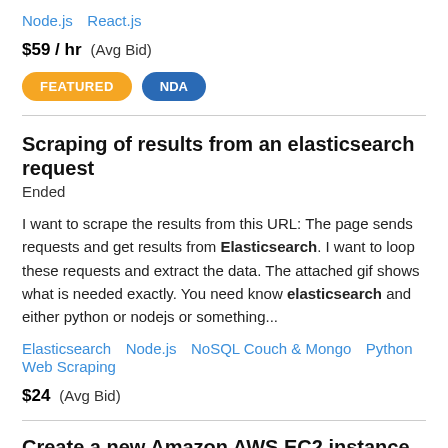Node.js   React.js
$59 / hr  (Avg Bid)
FEATURED  NDA
Scraping of results from an elasticsearch request
Ended
I want to scrape the results from this URL: The page sends requests and get results from Elasticsearch. I want to loop these requests and extract the data. The attached gif shows what is needed exactly. You need know elasticsearch and either python or nodejs or something...
Elasticsearch   Node.js   NoSQL Couch & Mongo   Python   Web Scraping
$24  (Avg Bid)
Create a new Amazon AWS EC2 instance who can